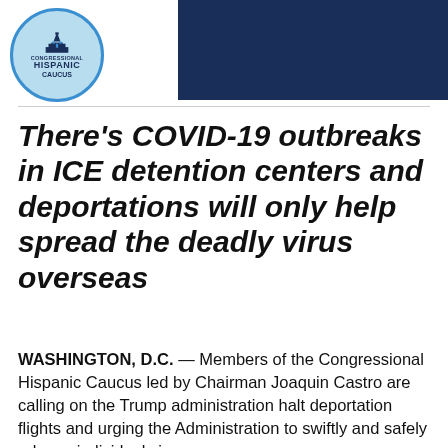Congressional Hispanic Caucus logo and header bar
There’s COVID-19 outbreaks in ICE detention centers and deportations will only help spread the deadly virus overseas
WASHINGTON, D.C. — Members of the Congressional Hispanic Caucus led by Chairman Joaquin Castro are calling on the Trump administration halt deportation flights and urging the Administration to swiftly and safely release individuals in